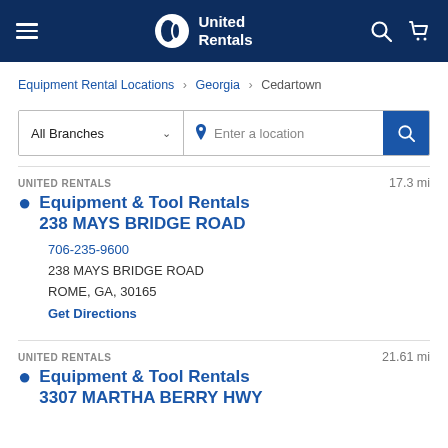United Rentals
Equipment Rental Locations > Georgia > Cedartown
All Branches | Enter a location
UNITED RENTALS  17.3 mi
Equipment & Tool Rentals
238 MAYS BRIDGE ROAD
706-235-9600
238 MAYS BRIDGE ROAD
ROME, GA, 30165
Get Directions
UNITED RENTALS  21.61 mi
Equipment & Tool Rentals
3307 MARTHA BERRY HWY